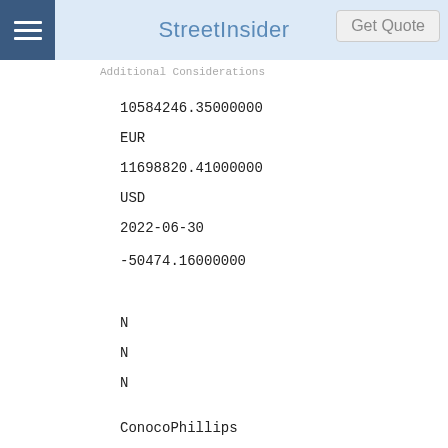StreetInsider  Get Quote
10584246.35000000
EUR
11698820.41000000
USD
2022-06-30
-50474.16000000
N
N
N
ConocoPhillips
WPTL2Z3FIYTHSP5V2253
20825C104